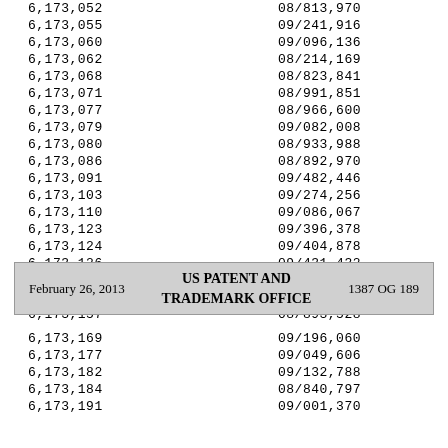| 6,173,052 | 08/813,970 |
| 6,173,055 | 09/241,916 |
| 6,173,060 | 09/096,136 |
| 6,173,062 | 08/214,169 |
| 6,173,068 | 08/823,841 |
| 6,173,071 | 08/991,851 |
| 6,173,077 | 08/966,600 |
| 6,173,079 | 09/082,008 |
| 6,173,080 | 08/933,988 |
| 6,173,086 | 08/892,970 |
| 6,173,091 | 09/482,446 |
| 6,173,103 | 09/274,256 |
| 6,173,110 | 09/086,067 |
| 6,173,123 | 09/396,378 |
| 6,173,124 | 09/404,878 |
| 6,173,126 | 09/431,432 |
| 6,173,139 | 09/016,785 |
| 6,173,142 | 09/468,521 |
| 6,173,157 | 08/893,528 |
February 26, 2013   US PATENT AND TRADEMARK OFFICE   1387 OG 189
| 6,173,169 | 09/196,060 |
| 6,173,177 | 09/049,606 |
| 6,173,182 | 09/132,788 |
| 6,173,184 | 08/840,797 |
| 6,173,191 | 09/001,370 |